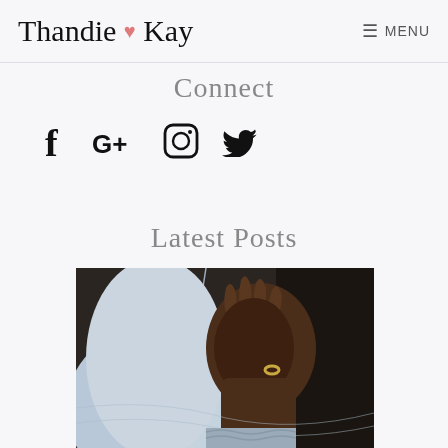Thandie ♥ Kay  ≡ MENU
Connect
[Figure (infographic): Row of social media icons: Facebook (f), Google+ (G+), Instagram (camera circle), Twitter (bird)]
Latest Posts
[Figure (photo): Close-up photo of a dark-skinned person's hand resting on a light denim jacket; the person is wearing a gold wedding ring]